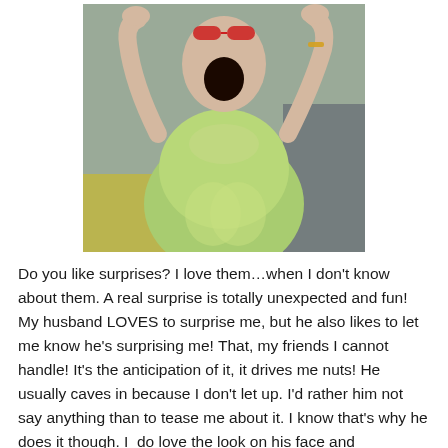[Figure (photo): A woman in a light green short-sleeve top with her hands raised to her face, mouth open in an expression of shock or surprise. She appears to be wearing red-framed sunglasses on her head and a gold bracelet. The background includes yellow and gray tones.]
Do you like surprises? I love them…when I don't know about them. A real surprise is totally unexpected and fun! My husband LOVES to surprise me, but he also likes to let me know he's surprising me! That, my friends I cannot handle! It's the anticipation of it, it drives me nuts! He usually caves in because I don't let up. I'd rather him not say anything than to tease me about it. I know that's why he does it though. I  do love the look on his face and